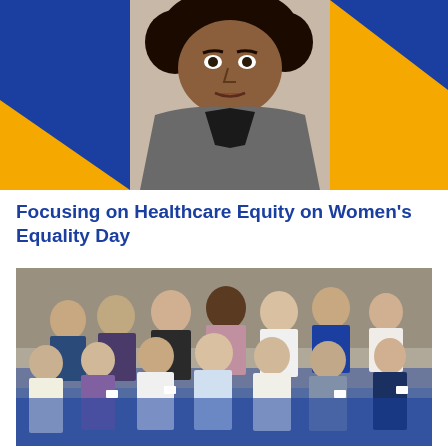[Figure (photo): Professional headshot of a woman in a grey blazer and chain necklace, set against a blue and gold/yellow geometric background]
Focusing on Healthcare Equity on Women's Equality Day
[Figure (photo): Group photo of approximately 16-17 people standing together indoors, with a blue tint overlay at the bottom]